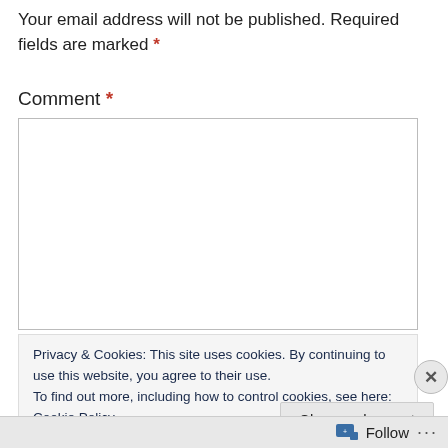Your email address will not be published. Required fields are marked *
Comment *
[Figure (other): Empty comment textarea input field with border]
Privacy & Cookies: This site uses cookies. By continuing to use this website, you agree to their use.
To find out more, including how to control cookies, see here: Cookie Policy
Close and accept
Follow